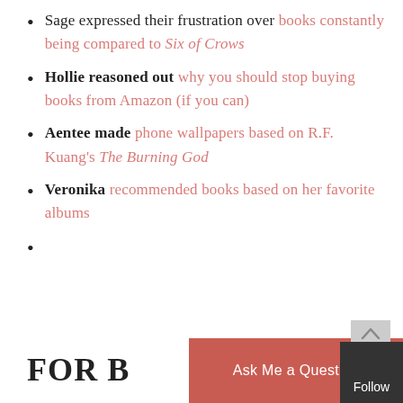Sage expressed their frustration over books constantly being compared to Six of Crows
Hollie reasoned out why you should stop buying books from Amazon (if you can)
Aentee made phone wallpapers based on R.F. Kuang's The Burning God
Veronika recommended books based on her favorite albums
FOR B